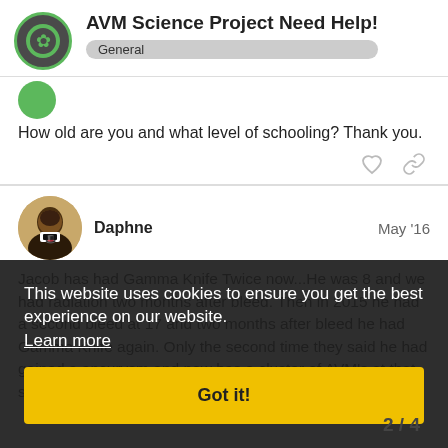AVM Science Project Need Help!
General
How old are you and what level of schooling? Thank you.
Daphne   May '16
Jacob has had Gamma Knife Twice now...He was 8 and we had radiation two months after bleed. Then in 2015 he had a second bleed at 17 and two months after bleed he had Gamma Knife again. Only the second time they said he had gained a ancurysm and now has a cluster of AVM's at that site info let me know! Good Luck.
This website uses cookies to ensure you get the best experience on our website. Learn more
Got it!
2 / 4